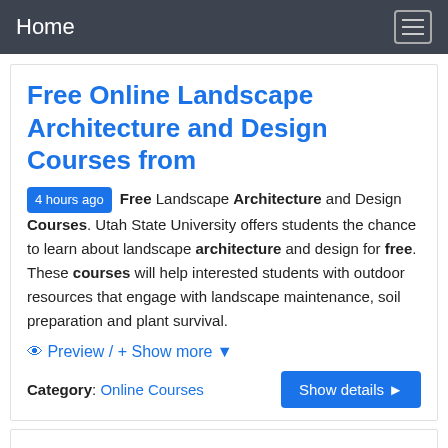Home
Free Online Landscape Architecture and Design Courses from
4 hours ago Free Landscape Architecture and Design Courses. Utah State University offers students the chance to learn about landscape architecture and design for free. These courses will help interested students with outdoor resources that engage with landscape maintenance, soil preparation and plant survival.
👁 Preview / + Show more ▾
Category: Online Courses
Free Architecture Courses on the